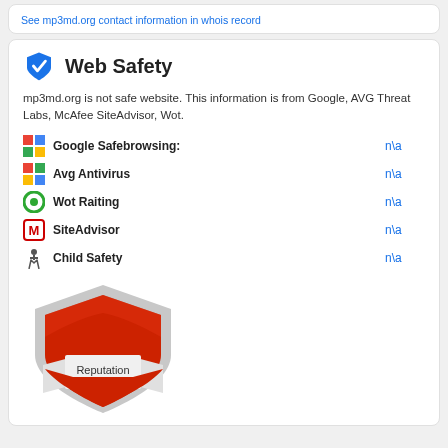See mp3md.org contact information in whois record
Web Safety
mp3md.org is not safe website. This information is from Google, AVG Threat Labs, McAfee SiteAdvisor, Wot.
Google Safebrowsing: n\a
Avg Antivirus n\a
Wot Raiting n\a
SiteAdvisor n\a
Child Safety n\a
[Figure (infographic): Red shield badge showing Reputation score of 0/100]